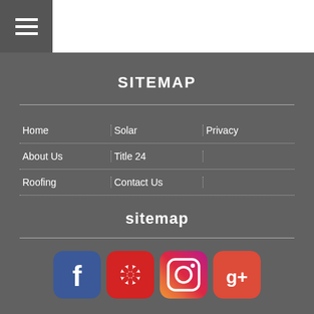≡
SITEMAP
Home
Solar
Privacy
About Us
Title 24
Roofing
Contact Us
sitemap
[Figure (logo): Facebook logo icon - blue background with white F]
[Figure (logo): Yelp logo icon - red background with white flower/burst]
[Figure (logo): Instagram logo icon - gradient purple/pink/orange background with camera outline]
[Figure (logo): Google Plus logo icon - red background with g+ text]